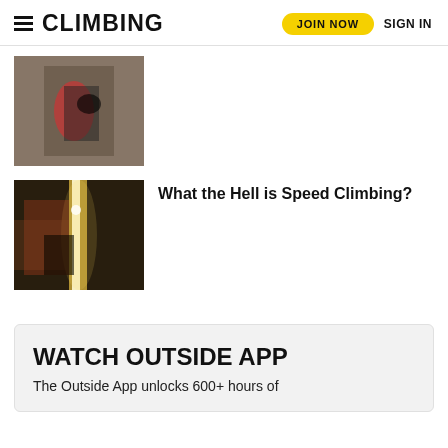CLIMBING | JOIN NOW | SIGN IN
[Figure (photo): Close-up photo of a climber's hands and harness on a rock face outdoors]
[Figure (photo): A climber ascending a speed climbing wall with bright lights in the background]
What the Hell is Speed Climbing?
WATCH OUTSIDE APP
The Outside App unlocks 600+ hours of